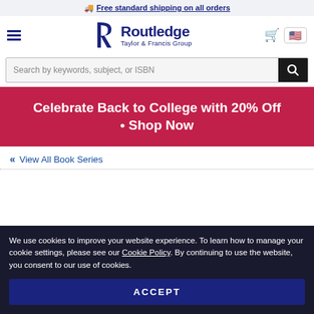🚚 Free standard shipping on all orders
[Figure (logo): Routledge Taylor & Francis Group logo with stylized R]
Search by keywords, subject, or ISBN
Celebrate Back to College with 20% Off • Shop Now
« View All Book Series
We use cookies to improve your website experience. To learn how to manage your cookie settings, please see our Cookie Policy. By continuing to use the website, you consent to our use of cookies.
ACCEPT